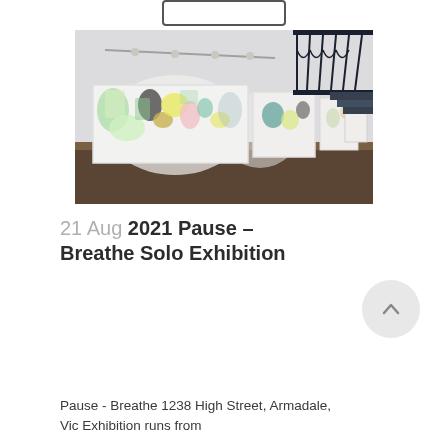[Figure (photo): Interior of an art gallery with white walls showing several large abstract paintings with colorful shapes. The gallery has track lighting, a dark wooden floor, and a decorative balcony railing visible in the upper right.]
21 Aug 2021 Pause – Breathe Solo Exhibition
Pause - Breathe 1238 High Street, Armadale, Vic Exhibition runs from